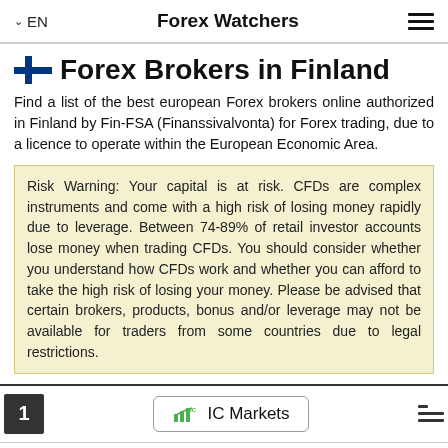EN  Forex Watchers
Forex Brokers in Finland
Find a list of the best european Forex brokers online authorized in Finland by Fin-FSA (Finanssivalvonta) for Forex trading, due to a licence to operate within the European Economic Area.
Risk Warning: Your capital is at risk. CFDs are complex instruments and come with a high risk of losing money rapidly due to leverage. Between 74-89% of retail investor accounts lose money when trading CFDs. You should consider whether you understand how CFDs work and whether you can afford to take the high risk of losing your money. Please be advised that certain brokers, products, bonus and/or leverage may not be available for traders from some countries due to legal restrictions.
1  IC Markets
Minimum Deposit  $/ 200S